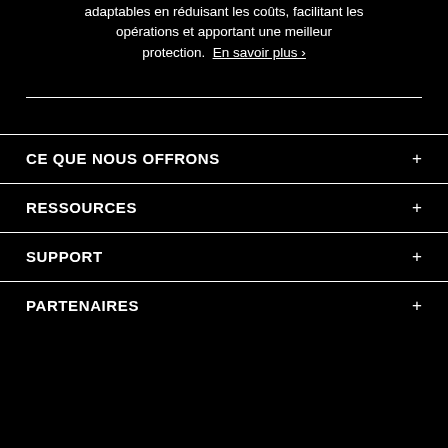adaptables en réduisant les coûts, facilitant les opérations et apportant une meilleur protection. En savoir plus ›
CE QUE NOUS OFFRONS
RESSOURCES
SUPPORT
PARTENAIRES